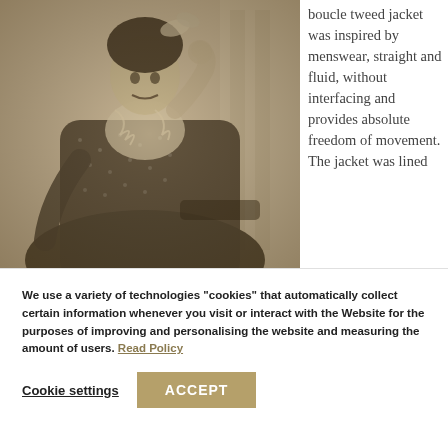[Figure (photo): Sepia-toned black and white vintage photograph of a woman wearing a boucle tweed jacket, seated, with a bow in her hair and ruffled blouse, photographed outdoors near a window or railing.]
boucle tweed jacket was inspired by menswear, straight and fluid, without interfacing and provides absolute freedom of movement. The jacket was lined
We use a variety of technologies "cookies" that automatically collect certain information whenever you visit or interact with the Website for the purposes of improving and personalising the website and measuring the amount of users. Read Policy